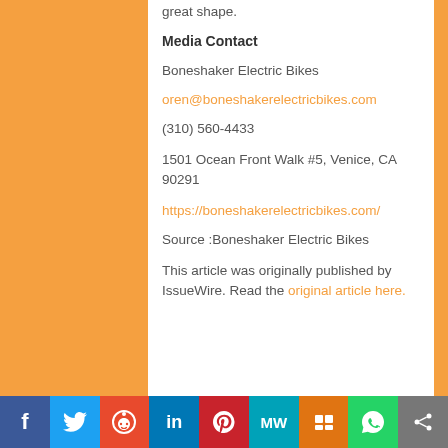great shape.
Media Contact
Boneshaker Electric Bikes
oren@boneshakerelectricbikes.com
(310) 560-4433
1501 Ocean Front Walk #5, Venice, CA 90291
https://boneshakerelectricbikes.com/
Source :Boneshaker Electric Bikes
This article was originally published by IssueWire. Read the original article here.